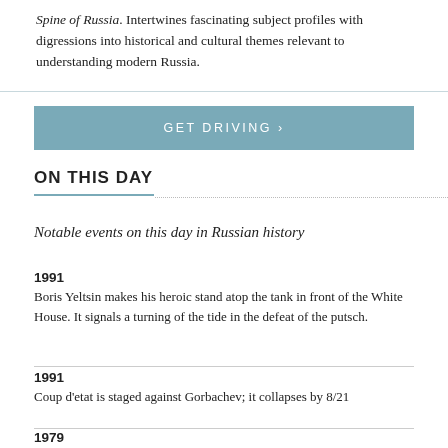Spine of Russia. Intertwines fascinating subject profiles with digressions into historical and cultural themes relevant to understanding modern Russia.
GET DRIVING ›
ON THIS DAY
Notable events on this day in Russian history
1991
Boris Yeltsin makes his heroic stand atop the tank in front of the White House. It signals a turning of the tide in the defeat of the putsch.
1991
Coup d'etat is staged against Gorbachev; it collapses by 8/21
1979